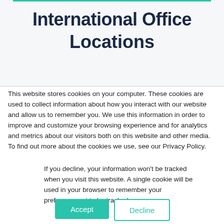International Office Locations
This website stores cookies on your computer. These cookies are used to collect information about how you interact with our website and allow us to remember you. We use this information in order to improve and customize your browsing experience and for analytics and metrics about our visitors both on this website and other media. To find out more about the cookies we use, see our Privacy Policy.
If you decline, your information won’t be tracked when you visit this website. A single cookie will be used in your browser to remember your preference not to be tracked.
Accept
Decline